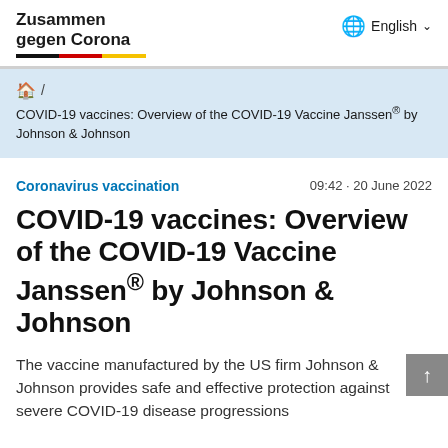Zusammen gegen Corona
/ COVID-19 vaccines: Overview of the COVID-19 Vaccine Janssen® by Johnson & Johnson
Coronavirus vaccination   09:42 · 20 June 2022
COVID-19 vaccines: Overview of the COVID-19 Vaccine Janssen® by Johnson & Johnson
The vaccine manufactured by the US firm Johnson & Johnson provides safe and effective protection against severe COVID-19 disease progressions